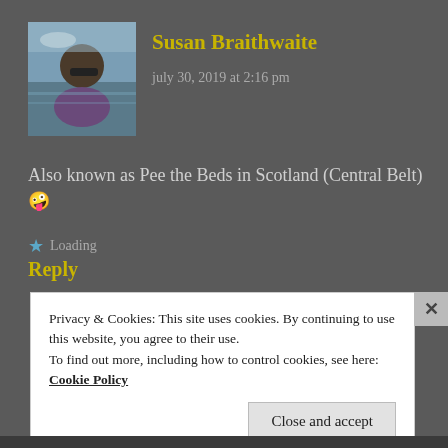[Figure (photo): Avatar photo of Susan Braithwaite — woman with sunglasses outdoors near water]
Susan Braithwaite
july 30, 2019 at 2:16 pm
Also known as Pee the Beds in Scotland (Central Belt) 🤪
★ Loading
Reply
Privacy & Cookies: This site uses cookies. By continuing to use this website, you agree to their use.
To find out more, including how to control cookies, see here: Cookie Policy
Close and accept